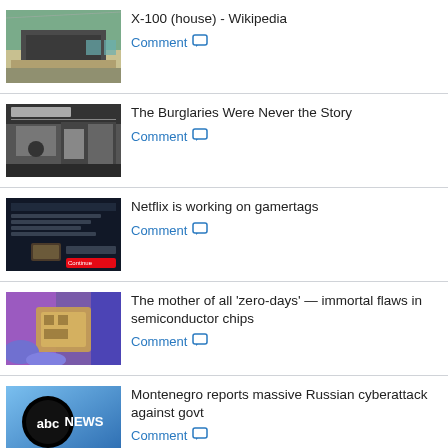[Figure (screenshot): Thumbnail of a house (X-100 house Wikipedia article image)]
X-100 (house) - Wikipedia
Comment
[Figure (photo): Black and white photo of Nixon squeeze storefront]
The Burglaries Were Never the Story
Comment
[Figure (screenshot): Screenshot of Netflix gamertag interface (dark background)]
Netflix is working on gamertags
Comment
[Figure (photo): Close-up photo of semiconductor chip being held by purple-gloved hand]
The mother of all 'zero-days' — immortal flaws in semiconductor chips
Comment
[Figure (logo): ABC News logo on blue background]
Montenegro reports massive Russian cyberattack against govt
Comment
[Figure (photo): Photo of rocky mountain cliff face with trees]
Empowerment vs. Entitlement
Comment